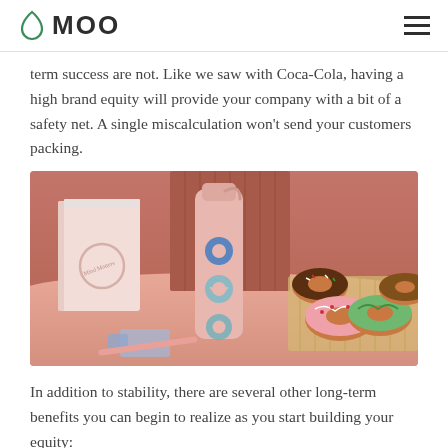MOO (logo with hamburger menu)
term success are not. Like we saw with Coca-Cola, having a high brand equity will provide your company with a bit of a safety net. A single miscalculation won't send your customers packing.
[Figure (photo): Product lifestyle photo on a pink/terracotta background showing a pink notebook, a pink water bottle with blue and teal donut-shaped stickers, and a tray of decorated donuts (chocolate, pink, green frosted) on a wooden rack. Items arranged on a round pink table.]
In addition to stability, there are several other long-term benefits you can begin to realize as you start building your equity: